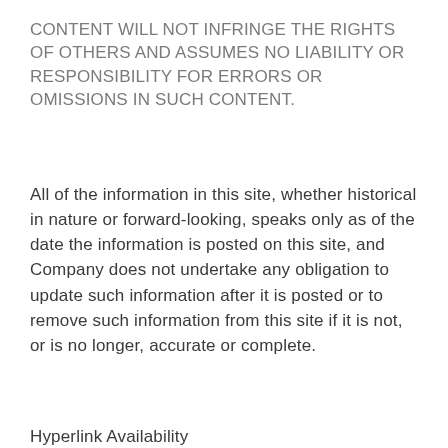CONTENT WILL NOT INFRINGE THE RIGHTS OF OTHERS AND ASSUMES NO LIABILITY OR RESPONSIBILITY FOR ERRORS OR OMISSIONS IN SUCH CONTENT.
All of the information in this site, whether historical in nature or forward-looking, speaks only as of the date the information is posted on this site, and Company does not undertake any obligation to update such information after it is posted or to remove such information from this site if it is not, or is no longer, accurate or complete.
Hyperlink Availability